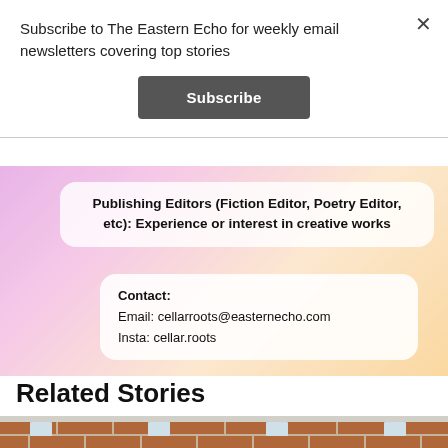Subscribe to The Eastern Echo for weekly email newsletters covering top stories
Subscribe
[Figure (infographic): Gradient infographic card (pink to peach) with two white rounded-corner cards. Top card reads: 'Publishing Editors (Fiction Editor, Poetry Editor, etc): Experience or interest in creative works'. Bottom card reads: 'Contact: Email: cellarroots@easternecho.com Insta: cellar.roots']
Related Stories
[Figure (photo): Brick building exterior showing windows and brick facade, partially visible at bottom of page]